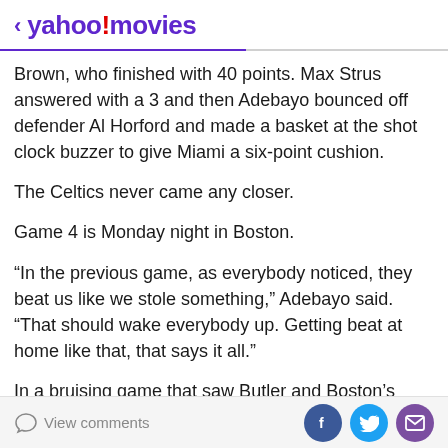< yahoo!movies
Brown, who finished with 40 points. Max Strus answered with a 3 and then Adebayo bounced off defender Al Horford and made a basket at the shot clock buzzer to give Miami a six-point cushion.
The Celtics never came any closer.
Game 4 is Monday night in Boston.
“In the previous game, as everybody noticed, they beat us like we stole something,” Adebayo said. “That should wake everybody up. Getting beat at home like that, that says it all.”
In a bruising game that saw Butler and Boston’s Jayson
View comments